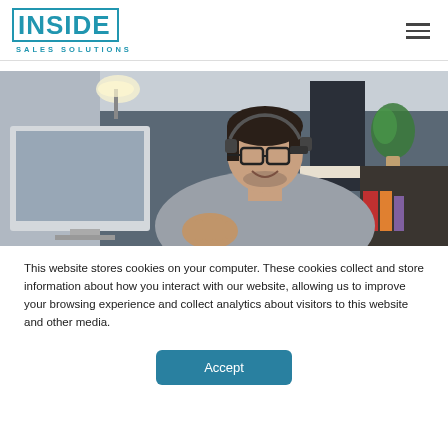INSIDE SALES SOLUTIONS
[Figure (photo): Man wearing headset and glasses smiling at a computer monitor in an office environment]
This website stores cookies on your computer. These cookies collect and store information about how you interact with our website, allowing us to improve your browsing experience and collect analytics about visitors to this website and other media.
Accept